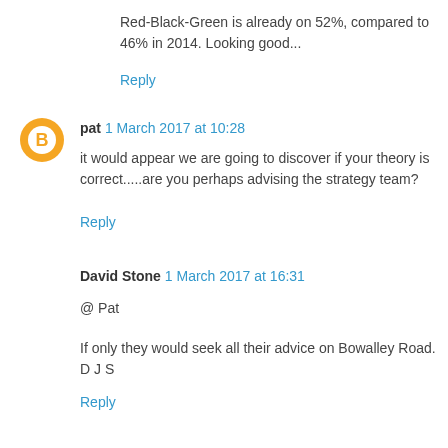Red-Black-Green is already on 52%, compared to 46% in 2014. Looking good...
Reply
pat 1 March 2017 at 10:28
it would appear we are going to discover if your theory is correct.....are you perhaps advising the strategy team?
Reply
David Stone 1 March 2017 at 16:31
@ Pat
If only they would seek all their advice on Bowalley Road.
D J S
Reply